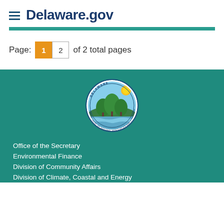Delaware.gov
Page: 1  2  of 2 total pages
[Figure (logo): Delaware Department of Natural Resources and Environmental Control seal — circular seal with trees, sun, and water, text around border reading DELAWARE DEPARTMENT OF NATURAL RESOURCES AND ENVIRONMENTAL CONTROL]
Office of the Secretary
Environmental Finance
Division of Community Affairs
Division of Climate, Coastal and Energy